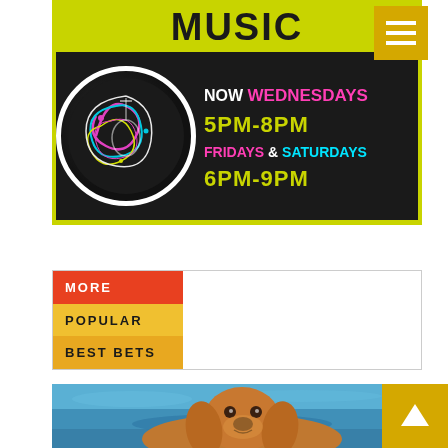[Figure (infographic): Live music promotional banner with yellow-green background at top saying MUSIC, black bottom half with decorative circle art on left and text: NOW WEDNESDAYS 5PM-8PM FRIDAYS & SATURDAYS 6PM-9PM]
[Figure (infographic): Navigation hamburger menu icon on yellow/gold background]
[Figure (infographic): Tab navigation section with three buttons: MORE (red), POPULAR (yellow), BEST BETS (amber/gold) on left side with white content area on right]
[Figure (photo): Photo of a golden retriever dog swimming in blue water]
[Figure (infographic): Back to top button (up arrow) on yellow/gold background]